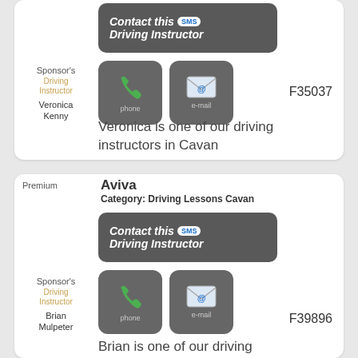[Figure (infographic): Contact this Driving Instructor banner with SMS bubble (dark gray rounded rectangle with white italic bold text)]
[Figure (infographic): Phone icon button (dark gray rounded square with green phone handset icon and 'phone' label)]
[Figure (infographic): E-mail icon button (dark gray rounded square with envelope/@ icon and 'e-mail' label)]
Sponsor's
Driving Instructor
Veronica Kenny
F35037
Veronica is one of our driving instructors in Cavan
Premium
Aviva
Category: Driving Lessons Cavan
[Figure (infographic): Contact this Driving Instructor banner with SMS bubble (dark gray rounded rectangle with white italic bold text)]
[Figure (infographic): Phone icon button (dark gray rounded square with green phone handset icon and 'phone' label)]
[Figure (infographic): E-mail icon button (dark gray rounded square with envelope/@ icon and 'e-mail' label)]
Sponsor's
Driving Instructor
Brian Mulpeter
F39896
Brian is one of our driving